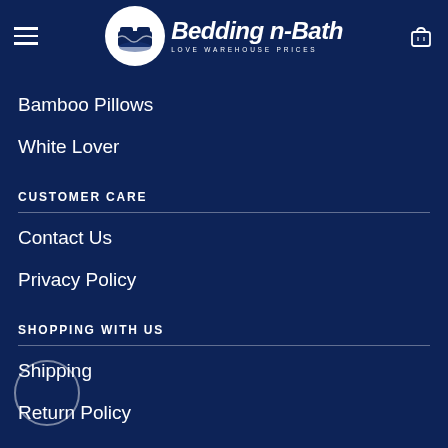Bedding n Bath — LOVE WAREHOUSE PRICES
Bamboo Pillows
White Lover
CUSTOMER CARE
Contact Us
Privacy Policy
SHOPPING WITH US
Shipping
Return Policy